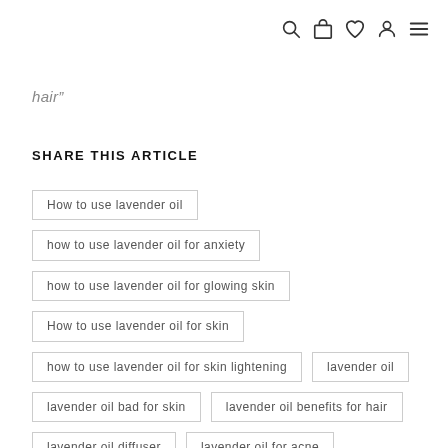icons: search, bag, heart, user, menu
hair”
SHARE THIS ARTICLE
How to use lavender oil
how to use lavender oil for anxiety
how to use lavender oil for glowing skin
How to use lavender oil for skin
how to use lavender oil for skin lightening
lavender oil
lavender oil bad for skin
lavender oil benefits for hair
lavender oil diffuser
lavender oil for acne
lavender oil for face wrinkles